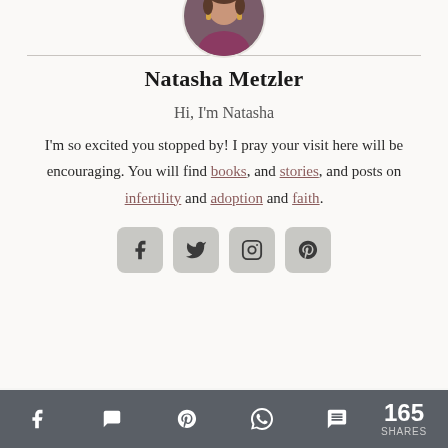[Figure (photo): Circular profile photo of Natasha Metzler, a woman wearing a magenta/purple top with yellow earrings]
Natasha Metzler
Hi, I'm Natasha
I'm so excited you stopped by! I pray your visit here will be encouraging. You will find books, and stories, and posts on infertility and adoption and faith.
[Figure (infographic): Four social media icon buttons: Facebook, Twitter, Instagram, Pinterest]
165 SHARES — share icons: Facebook, Messenger, Pinterest, WhatsApp, SMS